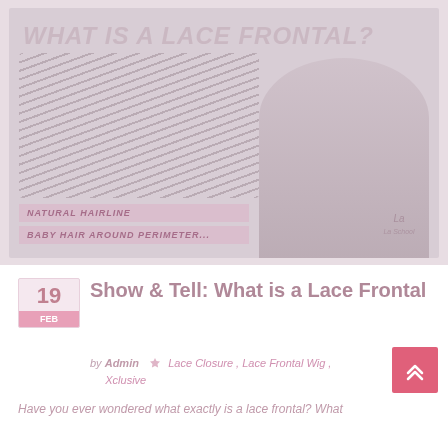[Figure (photo): Promotional image for 'What is a Lace Frontal?' blog post, showing hair bundles on left side with labels 'Natural Hairline' and 'Baby Hair Around Perimeter...' and a woman with long hair on the right side.]
Show & Tell: What is a Lace Frontal
by Admin  ·  Lace Closure ,  Lace Frontal Wig ,  Xclusive
Have you ever wondered what exactly is a lace frontal? What